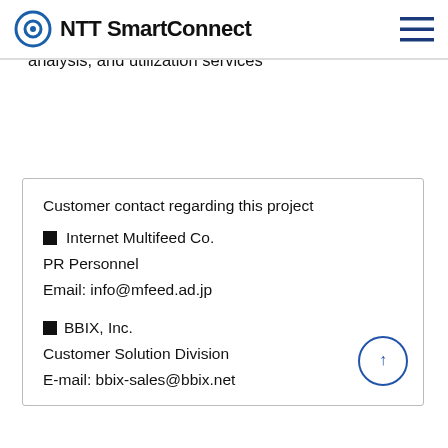NTT SmartConnect
services, including delivery platforms and data analysis, and utilization services
Customer contact regarding this project
■ Internet Multifeed Co.
PR Personnel
Email: info@mfeed.ad.jp
■BBIX, Inc.
Customer Solution Division
E-mail: bbix-sales@bbix.net